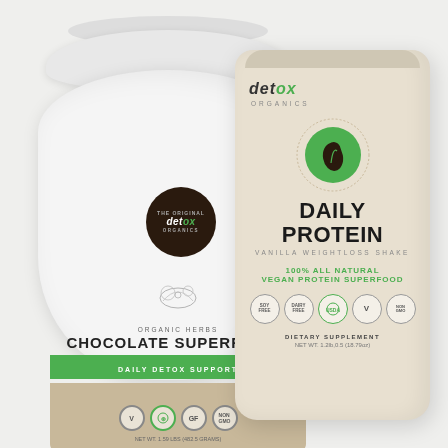[Figure (photo): Two Detox Organics product containers on a light gray background. Left: a white plastic tub labeled 'Chocolate Superfoods – Daily Detox Support' with a dark brown circular logo, green certification icons (V, Organic, GF), and a green/tan label band. Right: a beige/cream stand-up pouch labeled 'Daily Protein – Vanilla Weightloss Shake' with a green leaf logo circle, '100% All Natural Vegan Protein Superfood' text, and certification icons (Soy Free, Dairy Free, Vegan Organic, V, Non-GMO).]